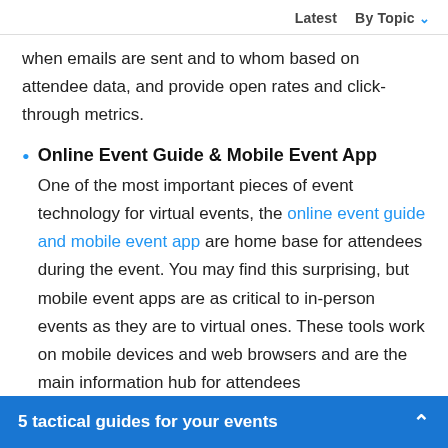Latest   By Topic
when emails are sent and to whom based on attendee data, and provide open rates and click-through metrics.
Online Event Guide & Mobile Event App
One of the most important pieces of event technology for virtual events, the online event guide and mobile event app are home base for attendees during the event. You may find this surprising, but mobile event apps are as critical to in-person events as they are to virtual ones. These tools work on mobile devices and web browsers and are the main information hub for attendees
5 tactical guides for your events